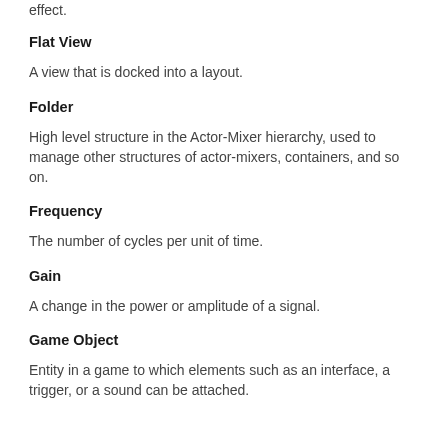effect.
Flat View
A view that is docked into a layout.
Folder
High level structure in the Actor-Mixer hierarchy, used to manage other structures of actor-mixers, containers, and so on.
Frequency
The number of cycles per unit of time.
Gain
A change in the power or amplitude of a signal.
Game Object
Entity in a game to which elements such as an interface, a trigger, or a sound can be attached.